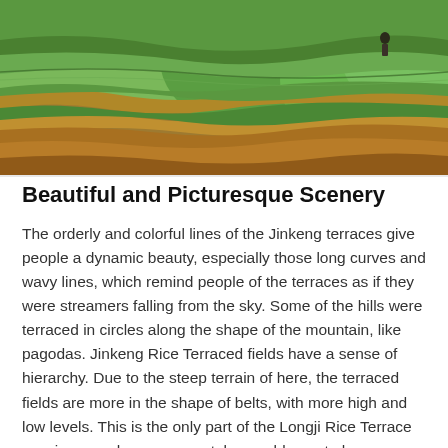[Figure (photo): Aerial photograph of Jinkeng rice terraces showing colorful curved terrace lines in shades of green, brown, and gold with a figure visible in the upper right.]
Beautiful and Picturesque Scenery
The orderly and colorful lines of the Jinkeng terraces give people a dynamic beauty, especially those long curves and wavy lines, which remind people of the terraces as if they were streamers falling from the sky. Some of the hills were terraced in circles along the shape of the mountain, like pagodas. Jinkeng Rice Terraced fields have a sense of hierarchy. Due to the steep terrain of here, the terraced fields are more in the shape of belts, with more high and low levels. This is the only part of the Longji Rice Terrace scenic area where you can take a cable car to have a panoramic